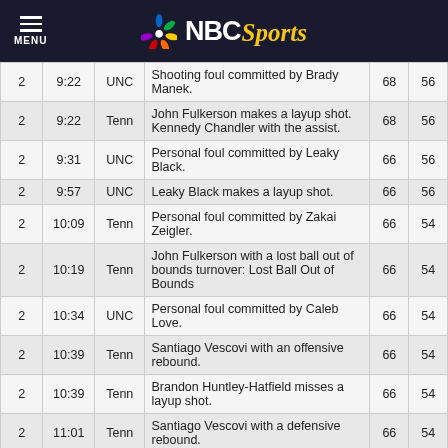NBC Sports
| Half | Time | Team | Event | Tenn | UNC |
| --- | --- | --- | --- | --- | --- |
| 2 | 9:22 | UNC | Shooting foul committed by Brady Manek. | 68 | 56 |
| 2 | 9:22 | Tenn | John Fulkerson makes a layup shot. Kennedy Chandler with the assist. | 68 | 56 |
| 2 | 9:31 | UNC | Personal foul committed by Leaky Black. | 66 | 56 |
| 2 | 9:57 | UNC | Leaky Black makes a layup shot. | 66 | 56 |
| 2 | 10:09 | Tenn | Personal foul committed by Zakai Zeigler. | 66 | 54 |
| 2 | 10:19 | Tenn | John Fulkerson with a lost ball out of bounds turnover: Lost Ball Out of Bounds | 66 | 54 |
| 2 | 10:34 | UNC | Personal foul committed by Caleb Love. | 66 | 54 |
| 2 | 10:39 | Tenn | Santiago Vescovi with an offensive rebound. | 66 | 54 |
| 2 | 10:39 | Tenn | Brandon Huntley-Hatfield misses a layup shot. | 66 | 54 |
| 2 | 11:01 | Tenn | Santiago Vescovi with a defensive rebound. | 66 | 54 |
| Half | Time | Team | Event | Tenn | UNC |
| 2 | 11:01 | UNC | Caleb Love misses a 3-point jump shot from 24 feet out. | 66 | 54 |